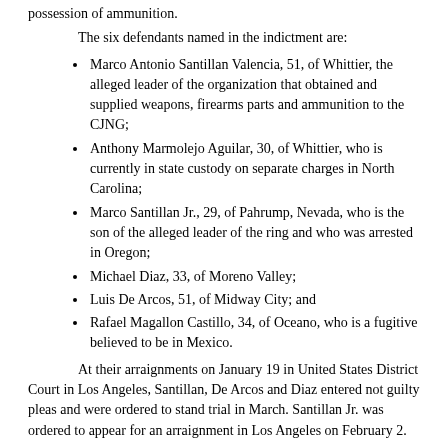possession of ammunition.
The six defendants named in the indictment are:
Marco Antonio Santillan Valencia, 51, of Whittier, the alleged leader of the organization that obtained and supplied weapons, firearms parts and ammunition to the CJNG;
Anthony Marmolejo Aguilar, 30, of Whittier, who is currently in state custody on separate charges in North Carolina;
Marco Santillan Jr., 29, of Pahrump, Nevada, who is the son of the alleged leader of the ring and who was arrested in Oregon;
Michael Diaz, 33, of Moreno Valley;
Luis De Arcos, 51, of Midway City; and
Rafael Magallon Castillo, 34, of Oceano, who is a fugitive believed to be in Mexico.
At their arraignments on January 19 in United States District Court in Los Angeles, Santillan, De Arcos and Diaz entered not guilty pleas and were ordered to stand trial in March. Santillan Jr. was ordered to appear for an arraignment in Los Angeles on February 2.
The indictment alleges that members of the Santillan gun trafficking organization obtained firearms in Oregon and Nevada, consolidated shipments in or near Pahrump and Whittier, and smuggled the prohibited items to Mexico. The organization further obtained ammunition from other sources, some through purchases and by